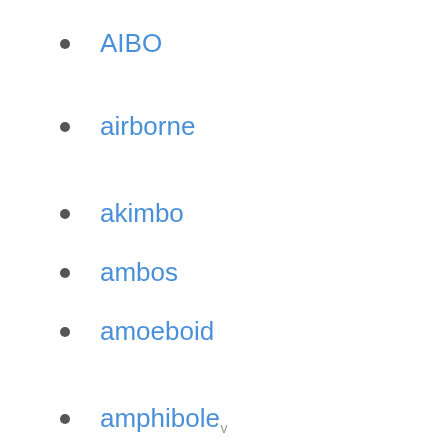AIBO
airborne
akimbo
ambos
amoeboid
amphibole
amphibology
anabolic